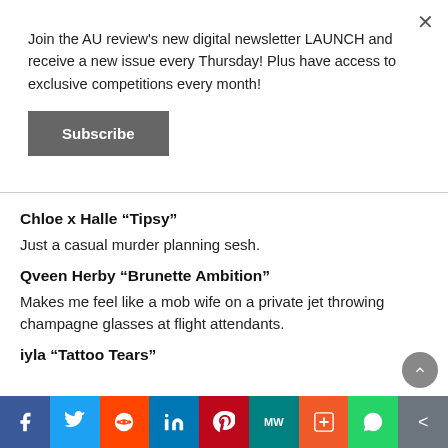Join the AU review's new digital newsletter LAUNCH and receive a new issue every Thursday! Plus have access to exclusive competitions every month!
Subscribe
Chloe x Halle “Tipsy”
Just a casual murder planning sesh.
Qveen Herby “Brunette Ambition”
Makes me feel like a mob wife on a private jet throwing champagne glasses at flight attendants.
iyla “Tattoo Tears”
f  Twitter  Reddit  in  Pinterest  MW  Mix  WhatsApp  Share